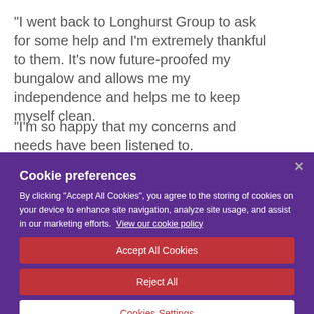“I went back to Longhurst Group to ask for some help and I’m extremely thankful to them. It’s now future-proofed my bungalow and allows me my independence and helps me to keep myself clean.
“I’m so happy that my concerns and needs have been listened to.
Cookie preferences
By clicking “Accept All Cookies”, you agree to the storing of cookies on your device to enhance site navigation, analyze site usage, and assist in our marketing efforts. View our cookie policy
Accept All Cookies
Reject All
Cookies Settings